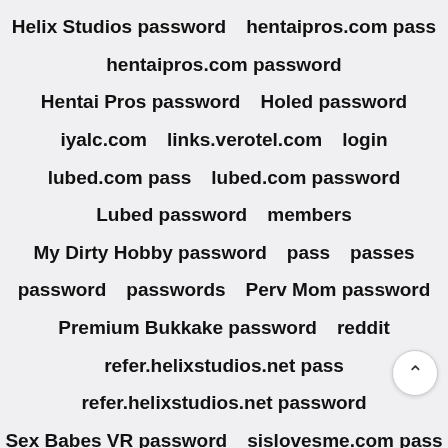Helix Studios password
hentaipros.com pass
hentaipros.com password
Hentai Pros password
Holed password
iyalc.com
links.verotel.com
login
lubed.com pass
lubed.com password
Lubed password
members
My Dirty Hobby password
pass
passes
password
passwords
Perv Mom password
Premium Bukkake password
reddit
refer.helixstudios.net pass
refer.helixstudios.net password
Sex Babes VR password
sislovesme.com pass
sislovesme.com password
Sis Loves Me pass
Spy Fam password
torrent
transangels.com pass